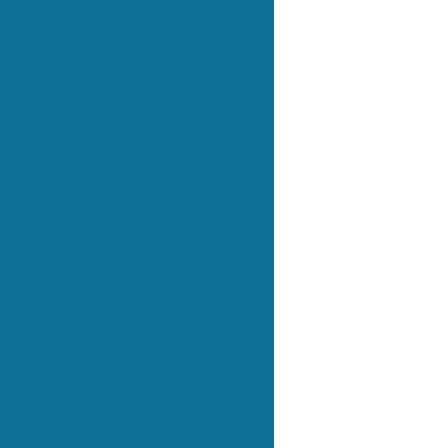[Figure (other): Large teal/blue rectangular panel occupying the left portion of the page]
• [bullet item text, partially visible]
The function computes and returns the ksize × 1 matrix